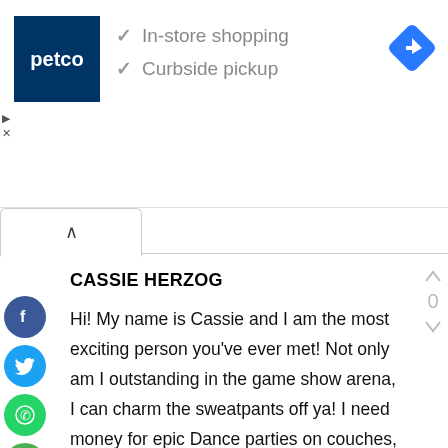[Figure (screenshot): Petco advertisement banner with logo, checkmarks for In-store shopping and Curbside pickup, and a navigation icon]
✓ In-store shopping
✓ Curbside pickup
CASSIE HERZOG
Hi! My name is Cassie and I am the most exciting person you've ever met! Not only am I outstanding in the game show arena, I can charm the sweatpants off ya! I need money for epic Dance parties on couches, improving my juggling skills, and building my own tree house in the woods!! Please pick me and I promise America will not be